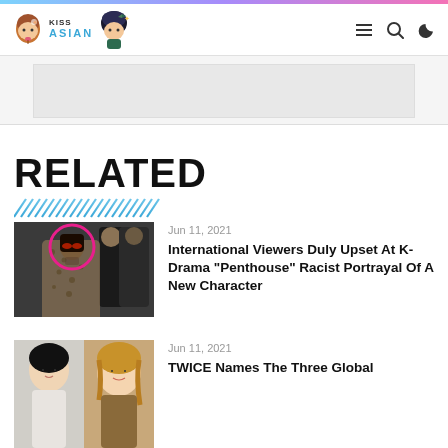KissAsian logo with navigation icons (hamburger menu, search, dark mode)
RELATED
[Figure (photo): Article thumbnail showing people in stylish outfits with a circled person wearing red glasses and tattooed neck]
Jun 11, 2021
International Viewers Duly Upset At K-Drama “Penthouse” Racist Portrayal Of A New Character
[Figure (photo): Article thumbnail showing two women side by side]
Jun 11, 2021
TWICE Names The Three Global